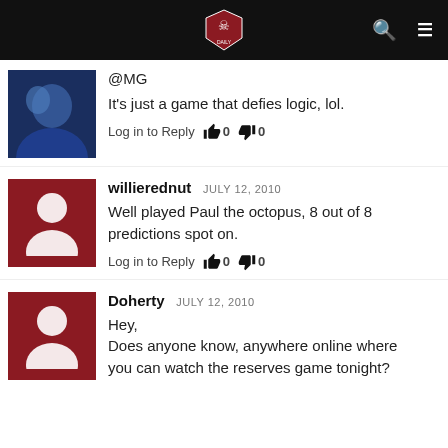Site header with logo, search and menu icons
@MG
It's just a game that defies logic, lol.
Log in to Reply  0  0
willierednut  JULY 12, 2010
Well played Paul the octopus, 8 out of 8 predictions spot on.
Log in to Reply  0  0
Doherty  JULY 12, 2010
Hey,
Does anyone know, anywhere online where you can watch the reserves game tonight?